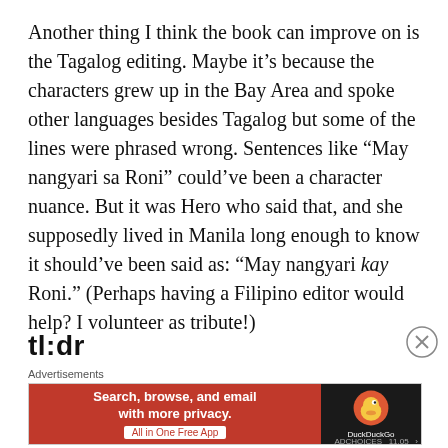Another thing I think the book can improve on is the Tagalog editing. Maybe it's because the characters grew up in the Bay Area and spoke other languages besides Tagalog but some of the lines were phrased wrong. Sentences like “May nangyari sa Roni” could’ve been a character nuance. But it was Hero who said that, and she supposedly lived in Manila long enough to know it should’ve been said as: “May nangyari kay Roni.” (Perhaps having a Filipino editor would help? I volunteer as tribute!)
tl:dr
Advertisements
[Figure (screenshot): DuckDuckGo advertisement banner: orange left panel with text 'Search, browse, and email with more privacy. All in One Free App', dark right panel with DuckDuckGo duck logo and brand name.]